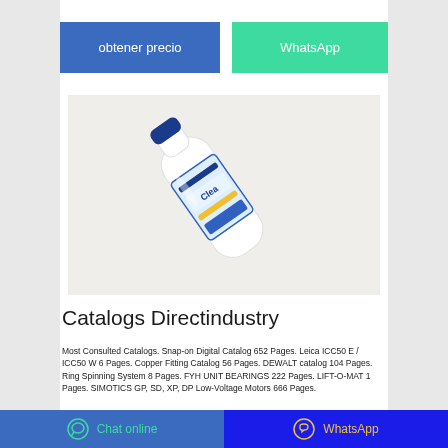obtener precio
WhatsApp
[Figure (photo): A white cleaning product bottle (appears to be a Clea brand cleaner) lying diagonally on a white/gray surface, with a blue cap and blue/yellow label.]
Catalogs Directindustry
Most Consulted Catalogs. Snap-on Digital Catalog 652 Pages. Leica ICC50 E / ICC50 W 6 Pages. Copper Fitting Catalog 56 Pages. DEWALT catalog 104 Pages. Ring Spinning System 8 Pages. FYH UNIT BEARINGS 222 Pages. LIFT-O-MAT 1 Pages. SIMOTICS GP, SD, XP, DP Low-Voltage Motors 666 Pages.
Chat online   WhatsApp